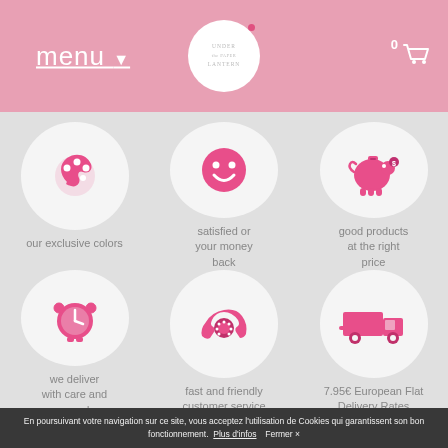menu — Under the Paper Lantern — cart 0
[Figure (illustration): Palette icon in pink circle — our exclusive colors]
our exclusive colors
[Figure (illustration): Smiley face icon in pink circle — satisfied or your money back]
satisfied or your money back
[Figure (illustration): Piggy bank icon in pink circle — good products at the right price]
good products at the right price
[Figure (illustration): Alarm clock icon in pink circle — we deliver with care and speed]
we deliver with care and speed
[Figure (illustration): Telephone icon in pink circle — fast and friendly customer service]
fast and friendly customer service
[Figure (illustration): Delivery truck icon in pink circle — 7.95€ European Flat Delivery Rates]
7.95€ European Flat Delivery Rates
En poursuivant votre navigation sur ce site, vous acceptez l'utilisation de Cookies qui garantissent son bon fonctionnement. Plus d'infos Fermer ×